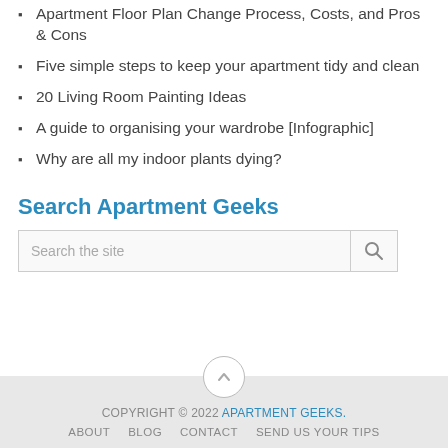Apartment Floor Plan Change Process, Costs, and Pros & Cons
Five simple steps to keep your apartment tidy and clean
20 Living Room Painting Ideas
A guide to organising your wardrobe [Infographic]
Why are all my indoor plants dying?
Search Apartment Geeks
COPYRIGHT © 2022 APARTMENT GEEKS. ABOUT BLOG CONTACT SEND US YOUR TIPS